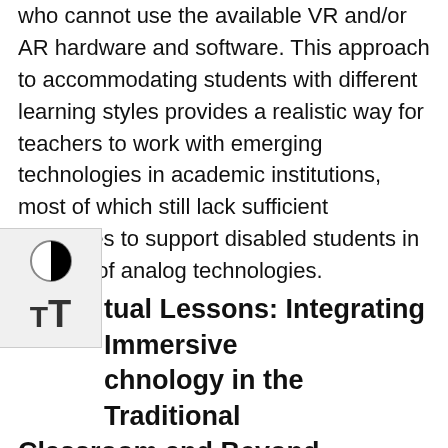who cannot use the available VR and/or AR hardware and software. This approach to accommodating students with different learning styles provides a realistic way for teachers to work with emerging technologies in academic institutions, most of which still lack sufficient resources to support disabled students in the use of analog technologies.
[Figure (other): Accessibility UI overlay with contrast toggle (half-black half-white circle icon) and text size (TT) button]
Virtual Lessons: Integrating Immersive Technology in the Traditional Classroom and Beyond
After the symposium's opening workshops on decoloniality and anti-ableism in immersive pedagogy, Levy's workshop put to practice the principles she laid out in her closing keynote address on the idiosyncratic game mechanics for simulating